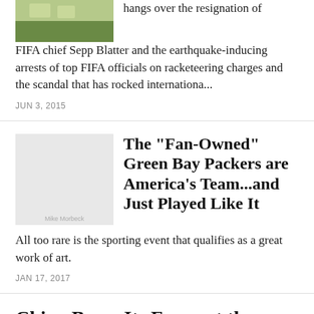[Figure (photo): Partial image of outdoor/grass scene, cropped at top]
hangs over the resignation of FIFA chief Sepp Blatter and the earthquake-inducing arrests of top FIFA officials on racketeering charges and the scandal that has rocked internationa...
JUN 3, 2015
[Figure (photo): Placeholder image with watermark credit: Mike Morbeck]
The "Fan-Owned" Green Bay Packers are America's Team...and Just Played Like It
All too rare is the sporting event that qualifies as a great work of art.
JAN 17, 2017
China Bares Its Fangs at the Wrong Ti...